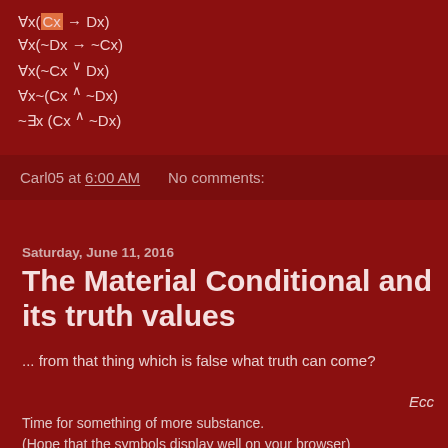Carl05 at 6:00 AM    No comments:
Saturday, June 11, 2016
The Material Conditional and its truth values
... from that thing which is false what truth can come?
Ecc
Time for something of more substance.
(Hope that the symbols display well on your browser)